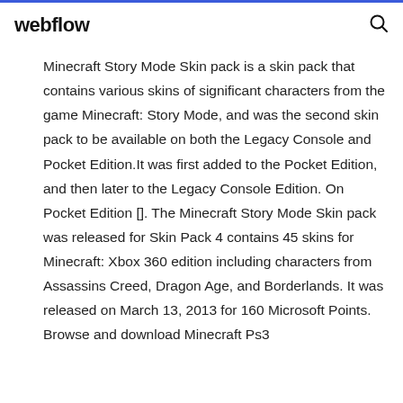webflow
Minecraft Story Mode Skin pack is a skin pack that contains various skins of significant characters from the game Minecraft: Story Mode, and was the second skin pack to be available on both the Legacy Console and Pocket Edition.It was first added to the Pocket Edition, and then later to the Legacy Console Edition. On Pocket Edition []. The Minecraft Story Mode Skin pack was released for Skin Pack 4 contains 45 skins for Minecraft: Xbox 360 edition including characters from Assassins Creed, Dragon Age, and Borderlands. It was released on March 13, 2013 for 160 Microsoft Points. Browse and download Minecraft Ps3